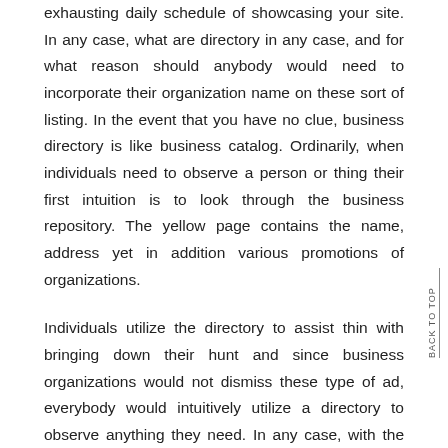exhausting daily schedule of showcasing your site. In any case, what are directory in any case, and for what reason should anybody would need to incorporate their organization name on these sort of listing. In the event that you have no clue, business directory is like business catalog. Ordinarily, when individuals need to observe a person or thing their first intuition is to look through the business repository. The yellow page contains the name, address yet in addition various promotions of organizations.
Individuals utilize the directory to assist thin with bringing down their hunt and since business organizations would not dismiss these type of ad, everybody would intuitively utilize a directory to observe anything they need. In any case, with the appearance of innovation the common yellow page directories are presently do not disparage as you can without much of a